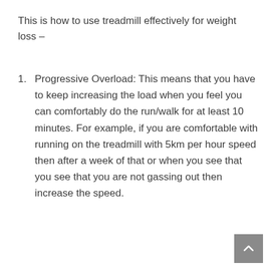This is how to use treadmill effectively for weight loss –
Progressive Overload: This means that you have to keep increasing the load when you feel you can comfortably do the run/walk for at least 10 minutes. For example, if you are comfortable with running on the treadmill with 5km per hour speed then after a week of that or when you see that you see that you are not gassing out then increase the speed.